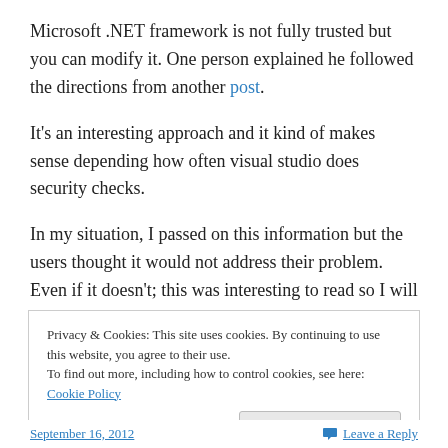Microsoft .NET framework is not fully trusted but you can modify it. One person explained he followed the directions from another post.
It's an interesting approach and it kind of makes sense depending how often visual studio does security checks.
In my situation, I passed on this information but the users thought it would not address their problem. Even if it doesn't; this was interesting to read so I will keep it for future reference.
Privacy & Cookies: This site uses cookies. By continuing to use this website, you agree to their use. To find out more, including how to control cookies, see here: Cookie Policy
September 16, 2012   Leave a Reply